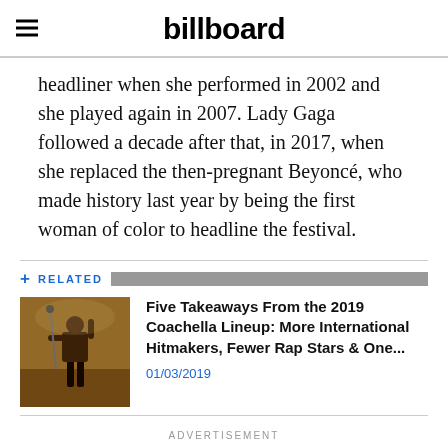billboard
headliner when she performed in 2002 and she played again in 2007. Lady Gaga followed a decade after that, in 2017, when she replaced the then-pregnant Beyoncé, who made history last year by being the first woman of color to headline the festival.
+ RELATED
[Figure (photo): Concert performer on stage with microphone stand, warm amber stage lighting]
Five Takeaways From the 2019 Coachella Lineup: More International Hitmakers, Fewer Rap Stars & One...
01/03/2019
ADVERTISEMENT